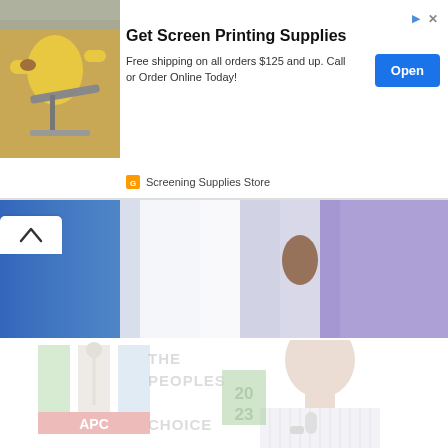[Figure (screenshot): Advertisement banner for 'Get Screen Printing Supplies' from Screening Supplies Store. Shows a person in yellow shirt operating a screen printing machine. Has an 'Open' button in blue and text 'Free shipping on all orders $125 and up. Call or Order Online Today!']
[Figure (photo): Website banner/hero image showing shirts on a blue/purple gradient background with a chevron/up arrow UI element on the left side.]
[Figure (logo): APC (All Progressives Congress) Nigeria political party logo - a broom symbol with green, white and light blue vertical bands and 'APC' text on a red banner below.]
[Figure (photo): Faded/watermarked background image of a bald man in a striped shirt holding a microphone, with 'THE PEOPLES CHOICE 2023' text overlay in grey and green.]